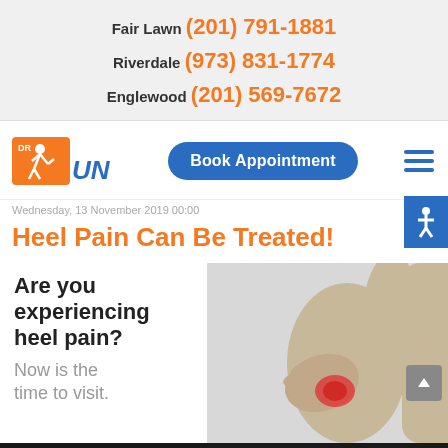Fair Lawn (201) 791-1881
Riverdale (973) 831-1774
Englewood (201) 569-7672
[Figure (logo): Dr. Run logo — orange running figure with DR RUN text]
Book Appointment
Wednesday, 13 November 2019 00:00
Heel Pain Can Be Treated!
[Figure (photo): Person holding heel in pain with red highlight on heel area]
Are you experiencing heel pain?
Now is the time to visit.
Request an Appointment